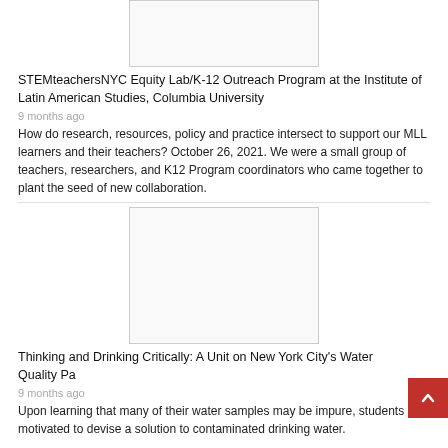[Figure (photo): Placeholder image for STEMteachersNYC article]
STEMteachersNYC Equity Lab/K-12 Outreach Program at the Institute of Latin American Studies, Columbia University
9 months ago
How do research, resources, policy and practice intersect to support our MLL learners and their teachers? October 26, 2021. We were a small group of teachers, researchers, and K12 Program coordinators who came together to plant the seed of new collaboration.
[Figure (photo): Placeholder image for Thinking and Drinking Critically article]
Thinking and Drinking Critically: A Unit on New York City's Water Quality Pa
9 months ago
Upon learning that many of their water samples may be impure, students are motivated to devise a solution to contaminated drinking water.